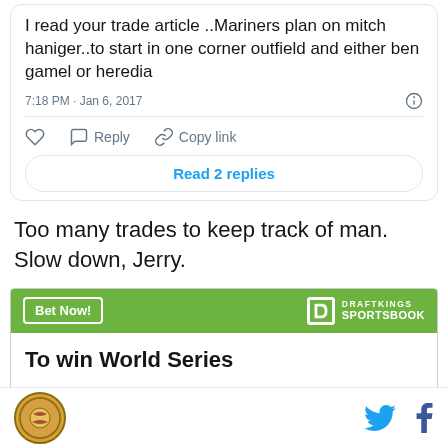I read your trade article ..Mariners plan on mitch haniger..to start in one corner outfield and either ben gamel or heredia
7:18 PM · Jan 6, 2017
Reply   Copy link
Read 2 replies
Too many trades to keep track of man. Slow down, Jerry.
[Figure (other): DraftKings Sportsbook advertisement widget with green header containing Bet Now! button and DraftKings logo, white body with bold text 'To win World Series']
Site logo icon, Twitter bird icon, Facebook f icon